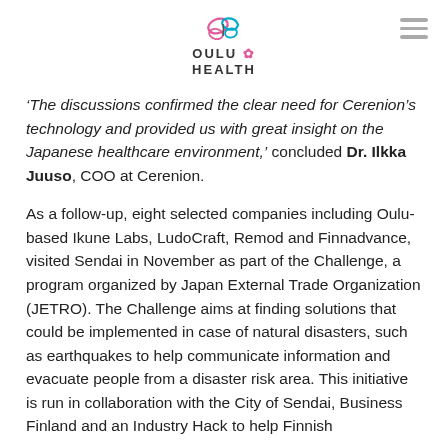OULU HEALTH
‘The discussions confirmed the clear need for Cerenion’s technology and provided us with great insight on the Japanese healthcare environment,’ concluded Dr. Ilkka Juuso, COO at Cerenion.
As a follow-up, eight selected companies including Oulu-based Ikune Labs, LudoCraft, Remod and Finnadvance, visited Sendai in November as part of the Challenge, a program organized by Japan External Trade Organization (JETRO). The Challenge aims at finding solutions that could be implemented in case of natural disasters, such as earthquakes to help communicate information and evacuate people from a disaster risk area. This initiative is run in collaboration with the City of Sendai, Business Finland and an Industry Hack to help Finnish